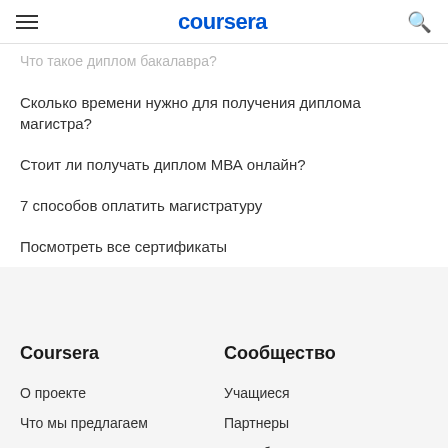coursera
Что такое диплом бакалавра?
Сколько времени нужно для получения диплома магистра?
Стоит ли получать диплом МВА онлайн?
7 способов оплатить магистратуру
Посмотреть все сертификаты
Coursera
О проекте
Что мы предлагаем
Руководство
Карьера
Каталог
Сообщество
Учащиеся
Партнеры
Разработчики
Бета-тестировщики
Переводчики